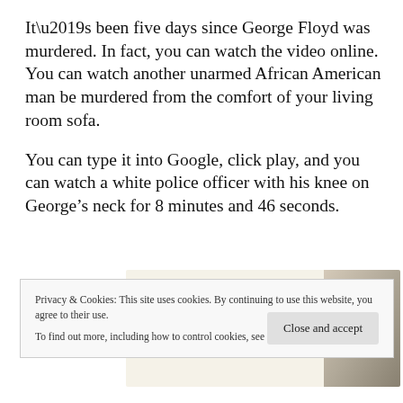It’s been five days since George Floyd was murdered. In fact, you can watch the video online. You can watch another unarmed African American man be murdered from the comfort of your living room sofa.
You can type it into Google, click play, and you can watch a white police officer with his knee on George’s neck for 8 minutes and 46 seconds.
[Figure (screenshot): Advertisement banner with green 'Explore options' button on a beige background with food/lifestyle imagery on the right side.]
Privacy & Cookies: This site uses cookies. By continuing to use this website, you agree to their use.
To find out more, including how to control cookies, see here: Cookie Policy
Close and accept